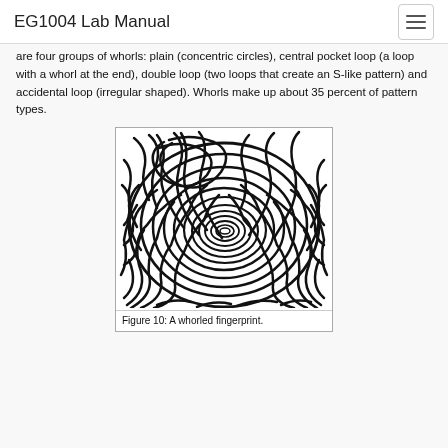EG1004 Lab Manual
are four groups of whorls: plain (concentric circles), central pocket loop (a loop with a whorl at the end), double loop (two loops that create an S-like pattern) and accidental loop (irregular shaped). Whorls make up about 35 percent of pattern types.
[Figure (photo): A whorled fingerprint showing concentric circular ridge patterns with a central oval whorl, printed in black and white.]
Figure 10: A whorled fingerprint.